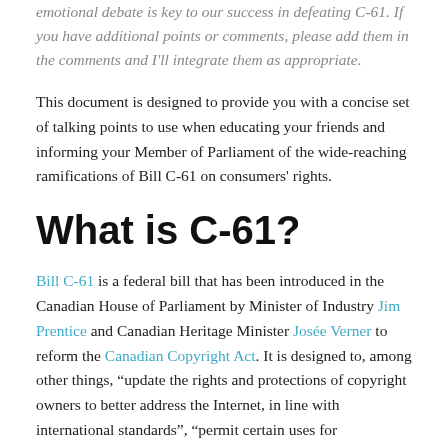emotional debate is key to our success in defeating C-61. If you have additional points or comments, please add them in the comments and I'll integrate them as appropriate.
This document is designed to provide you with a concise set of talking points to use when educating your friends and informing your Member of Parliament of the wide-reaching ramifications of Bill C-61 on consumers' rights.
What is C-61?
Bill C-61 is a federal bill that has been introduced in the Canadian House of Parliament by Minister of Industry Jim Prentice and Canadian Heritage Minister Josée Verner to reform the Canadian Copyright Act. It is designed to, among other things, “update the rights and protections of copyright owners to better address the Internet, in line with international standards”, “permit certain uses for educational and research purposes of Internet and other